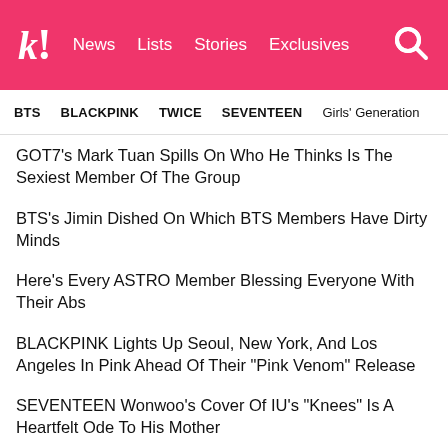k! News Lists Stories Exclusives
BTS  BLACKPINK  TWICE  SEVENTEEN  Girls' Generation
GOT7's Mark Tuan Spills On Who He Thinks Is The Sexiest Member Of The Group
BTS's Jimin Dished On Which BTS Members Have Dirty Minds
Here's Every ASTRO Member Blessing Everyone With Their Abs
BLACKPINK Lights Up Seoul, New York, And Los Angeles In Pink Ahead Of Their "Pink Venom" Release
SEVENTEEN Wonwoo's Cover Of IU's "Knees" Is A Heartfelt Ode To His Mother
NEXT ARTICLE
10+ Relatable Fan Reactions To